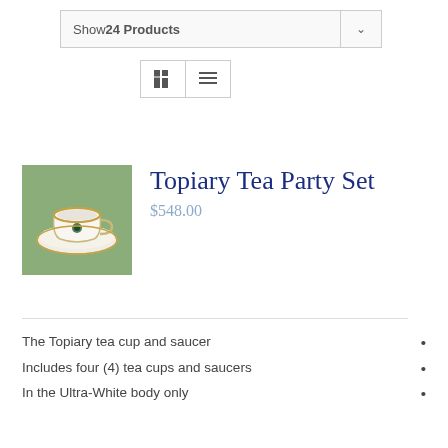Show 24 Products
[Figure (screenshot): View toggle buttons: grid view and list view icons]
[Figure (photo): Photo of a white teacup and saucer with gold rim and decorative motif on a green background]
Topiary Tea Party Set
$548.00
The Topiary tea cup and saucer •
Includes four (4) tea cups and saucers •
In the Ultra-White body only •